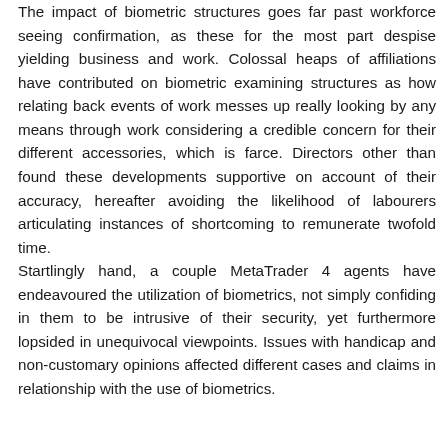The impact of biometric structures goes far past workforce seeing confirmation, as these for the most part despise yielding business and work. Colossal heaps of affiliations have contributed on biometric examining structures as how relating back events of work messes up really looking by any means through work considering a credible concern for their different accessories, which is farce. Directors other than found these developments supportive on account of their accuracy, hereafter avoiding the likelihood of labourers articulating instances of shortcoming to remunerate twofold time. Startlingly hand, a couple MetaTrader 4 agents have endeavoured the utilization of biometrics, not simply confiding in them to be intrusive of their security, yet furthermore lopsided in unequivocal viewpoints. Issues with handicap and non-customary opinions affected different cases and claims in relationship with the use of biometrics.